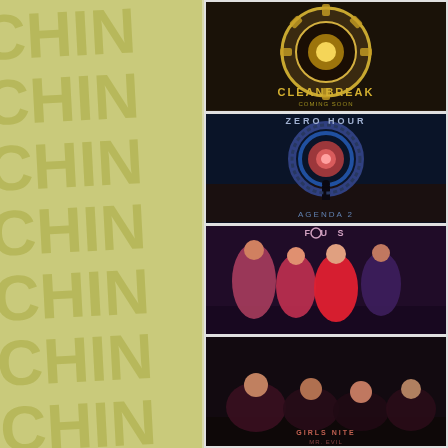page. The ultimate goal is to make the discographies here at Heavy Harmonies as complete as possible. Even if it is an obscure greatest-hits or live compilation CD, we want to add it to the site. Please only submit official CD releases; no bootlegs or cassette-only or LP-only releases.
EPs and CD-singles from Jettison Eddy are also welcome to be added, as long as they are at least 4 songs in
[Figure (photo): Album cover: Cleanbreak - circular gear/sun dark background with golden text]
[Figure (photo): Album cover: Zero Hour - Agenda 2, sci-fi portal/ring with figure standing in front]
[Figure (photo): Album cover: Band photo with four women, one in red dress, Focus logo at top]
[Figure (photo): Album cover: Group of women posed together, dark background with text]